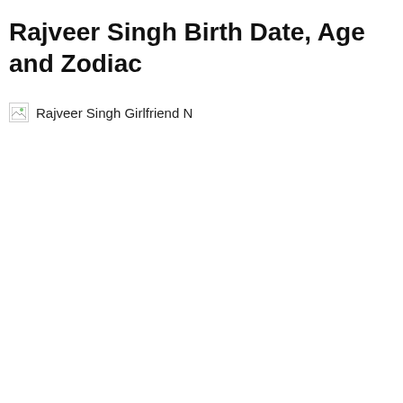Rajveer Singh Birth Date, Age and Zodiac
[Figure (photo): Broken image placeholder with caption 'Rajveer Singh Girlfriend N...']